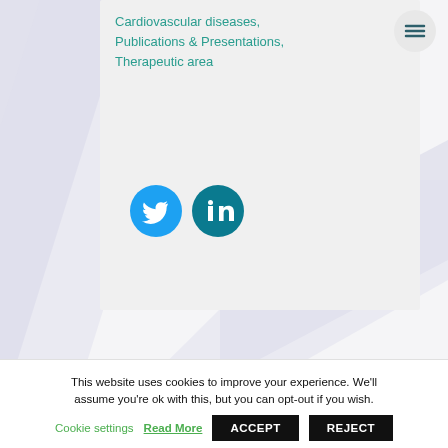Cardiovascular diseases, Publications & Presentations, Therapeutic area
[Figure (illustration): Twitter and LinkedIn social media icon buttons]
This website uses cookies to improve your experience. We'll assume you're ok with this, but you can opt-out if you wish.
Cookie settings   Read More   ACCEPT   REJECT